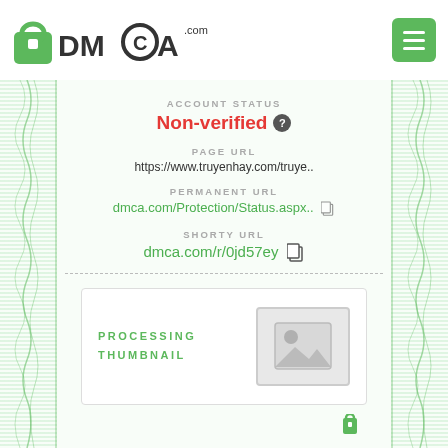[Figure (logo): DMCA.com logo with green padlock icon and text]
ACCOUNT STATUS
Non-verified
PAGE URL
https://www.truyenhay.com/truye..
PERMANENT URL
dmca.com/Protection/Status.aspx..
SHORTY URL
dmca.com/r/0jd57ey
PROCESSING THUMBNAIL
[Figure (photo): Placeholder image thumbnail with mountain/image icon]